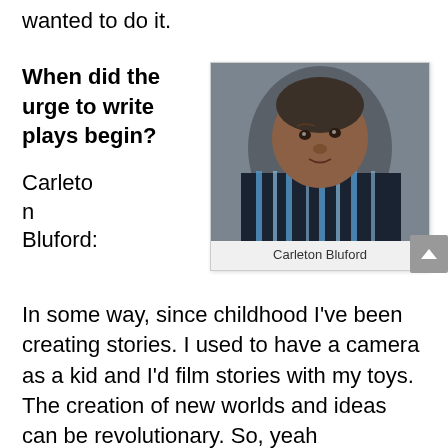wanted to do it.
When did the urge to write plays begin?
[Figure (photo): Headshot photo of Carleton Bluford, a young Black man wearing a striped blue and black shirt, photographed against a grey background.]
Carleton Bluford
Carleton Bluford:
In some way, since childhood I've been creating stories. I used to have a camera as a kid and I'd film stories with my toys. The creation of new worlds and ideas can be revolutionary. So, yeah